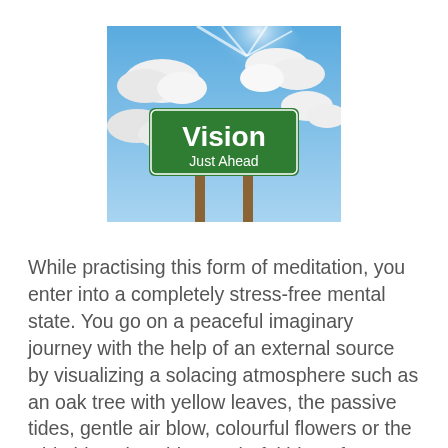[Figure (illustration): A green road sign reading 'Vision / Just Ahead' mounted on two wooden posts against a dramatic blue sky with white clouds and sun rays.]
While practising this form of meditation, you enter into a completely stress-free mental state. You go on a peaceful imaginary journey with the help of an external source by visualizing a solacing atmosphere such as an oak tree with yellow leaves, the passive tides, gentle air blow, colourful flowers or the wide blue sky. This wonderful idea of entering into a vivid imagination will help you release stress and negative emotions or thoughts. You will be automatically lead to a naturally delighting environment free from worries, troubles and